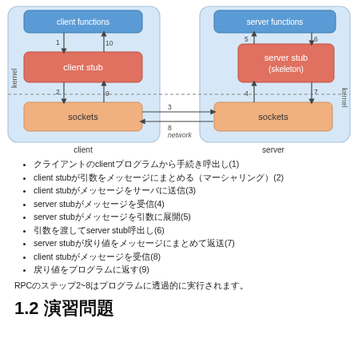[Figure (engineering-diagram): RPC architecture diagram showing client and server sides. Client side has 'client functions' box (blue) at top, 'client stub' box (red/orange) in middle, and 'sockets' box (light orange) at bottom, within a light blue 'kernel' container. Server side has 'server functions' box (blue) at top, 'server stub (skeleton)' box (red/orange) in middle, and 'sockets' box (light orange) at bottom, within a light blue 'kernel' container. Numbered arrows (1-10) show the flow between components. Arrows 3 and 8 cross the network between the two socket boxes. Labels 'client' and 'server' appear below each side.]
クライアントのclientプログラムから手続き呼出し(1)
client stubが引数をメッセージにまとめる（マーシャリング）(2)
client stubがメッセージをサーバに送信(3)
server stubがメッセージを受信(4)
server stubがメッセージを引数に展開(5)
引数を渡してserver stub呼出し(6)
server stubが戻り値をメッセージにまとめて返送(7)
client stubがメッセージを受信(8)
戻り値をプログラムに返す(9)
RPCのステップ2~8はプログラムに透過的に実行されます。
1.2 演習問題